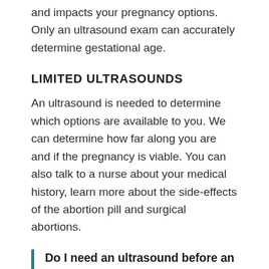and impacts your pregnancy options. Only an ultrasound exam can accurately determine gestational age.
LIMITED ULTRASOUNDS
An ultrasound is needed to determine which options are available to you. We can determine how far along you are and if the pregnancy is viable. You can also talk to a nurse about your medical history, learn more about the side-effects of the abortion pill and surgical abortions.
Do I need an ultrasound before an abortion? An abortion clinic may or may not offer an ultrasound before an abortion. An